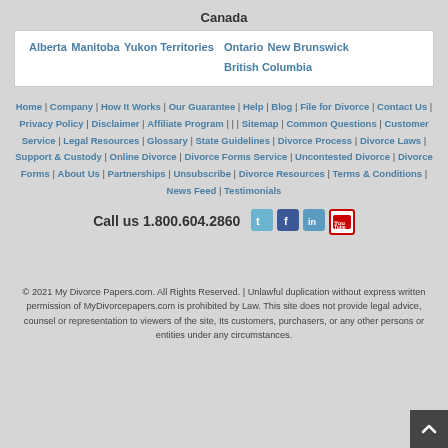Canada
Alberta
Manitoba
Yukon Territories
Ontario
New Brunswick
British Columbia
Home | Company | How It Works | Our Guarantee | Help | Blog | File for Divorce | Contact Us | Privacy Policy | Disclaimer | Affiliate Program | | | Sitemap | Common Questions | Customer Service | Legal Resources | Glossary | State Guidelines | Divorce Process | Divorce Laws | Support & Custody | Online Divorce | Divorce Forms Service | Uncontested Divorce | Divorce Forms | About Us | Partnerships | Unsubscribe | Divorce Resources | Terms & Conditions | News Feed | Testimonials
Call us 1.800.604.2860
© 2021 My Divorce Papers.com. All Rights Reserved. | Unlawful duplication without express written permission of MyDivorcepapers.com is prohibited by Law. This site does not provide legal advice, counsel or representation to viewers of the site, Its customers, purchasers, or any other persons or entities under any circumstances.